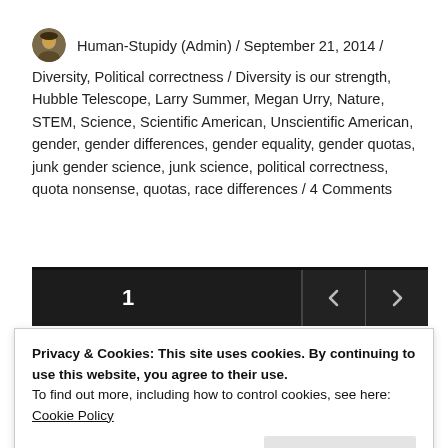Human-Stupidy (Admin) / September 21, 2014 / Diversity, Political correctness / Diversity is our strength, Hubble Telescope, Larry Summer, Megan Urry, Nature, STEM, Science, Scientific American, Unscientific American, gender, gender differences, gender equality, gender quotas, junk gender science, junk science, political correctness, quota nonsense, quotas, race differences / 4 Comments
[Figure (other): Navigation bar with number 1 and left/right arrow buttons on dark background]
Privacy & Cookies: This site uses cookies. By continuing to use this website, you agree to their use.
To find out more, including how to control cookies, see here:
Cookie Policy
Close and accept